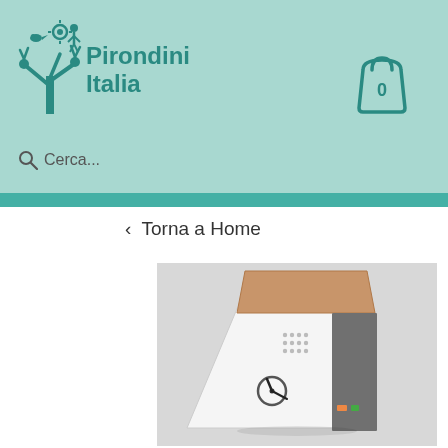Pirondini Italia
Cerca...
< Torna a Home
[Figure (photo): A modern cuckoo clock shaped like a house, with a wood-toned roof, white angled body, small speaker grill holes, a clock face with hands, and a dark grey rectangular tower section with a small orange indicator, mounted on a light grey wall.]